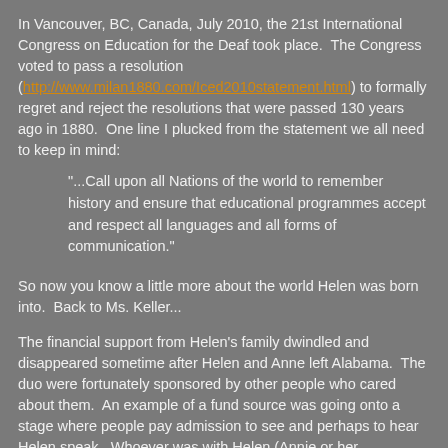In Vancouver, BC, Canada, July 2010, the 21st International Congress on Education for the Deaf took place.  The Congress voted to pass a resolution (http://www.milan1880.com/Iced2010statement.html) to formally regret and reject the resolutions that were passed 130 years ago in 1880.  One line I plucked from the statement we all need to keep in mind:
"...Call upon all Nations of the world to remember history and ensure that educational programmes accept and respect all languages and all forms of communication."
So now you know a little more about the world Helen was born into.  Back to Ms. Keller...
The financial support from Helen's family dwindled and disappeared sometime after Helen and Anne left Alabama.  The duo were fortunately sponsored by other people who cared about them.  An example of a fund source was going onto a stage where people pay admission to see and perhaps to hear Helen speak.  Whoever was with Helen (Annie or her successor), repeated to the audience what Helen spoke.